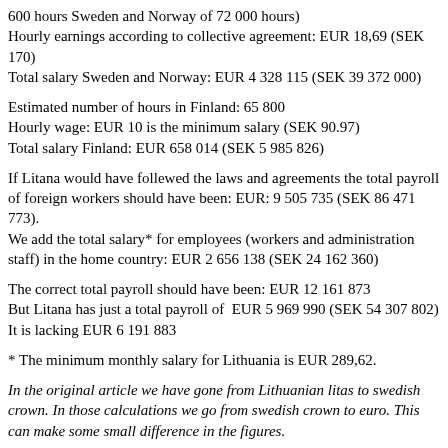600 hours Sweden and Norway of 72 000 hours)
Hourly earnings according to collective agreement: EUR 18,69 (SEK 170)
Total salary Sweden and Norway: EUR 4 328 115 (SEK 39 372 000)
Estimated number of hours in Finland: 65 800
Hourly wage: EUR 10 is the minimum salary (SEK 90.97)
Total salary Finland: EUR 658 014 (SEK 5 985 826)
If Litana would have follewed the laws and agreements the total payroll of foreign workers should have been: EUR: 9 505 735 (SEK 86 471 773).
We add the total salary* for employees (workers and administration staff) in the home country: EUR 2 656 138 (SEK 24 162 360)
The correct total payroll should have been: EUR 12 161 873
But Litana has just a total payroll of  EUR 5 969 990 (SEK 54 307 802)
It is lacking EUR 6 191 883
* The minimum monthly salary for Lithuania is EUR 289,62.
In the original article we have gone from Lithuanian litas to swedish crown. In those calculations we go from swedish crown to euro. This can make some small difference in the figures.